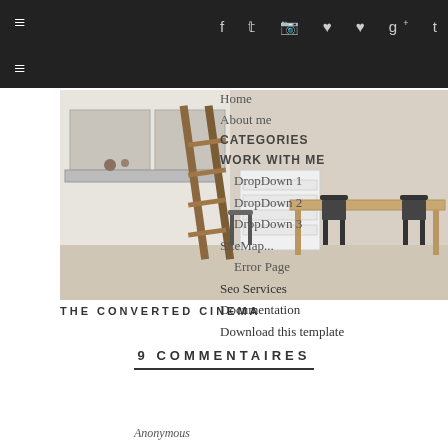≡ [social icons: f t instagram pinterest heart g+ t] | Home | About me | CATEGORIES | WORK WITH ME | DropDown 1 | DropDown 2 | DropDown 3 | SiteMap... | Error Page | Seo Services | Documentation | Download this template
[Figure (photo): Interior photo of a modern kitchen with a wooden ladder leaning against white cabinets, a white drawer unit, and black chairs around a dining table.]
THE CONVERTED CINEMA
9 COMMENTAIRES
Anonymous